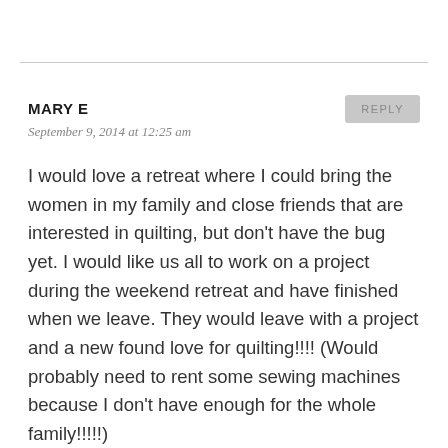MARY E
September 9, 2014 at 12:25 am
I would love a retreat where I could bring the women in my family and close friends that are interested in quilting, but don't have the bug yet. I would like us all to work on a project during the weekend retreat and have finished when we leave. They would leave with a project and a new found love for quilting!!!! (Would probably need to rent some sewing machines because I don't have enough for the whole family!!!!!)